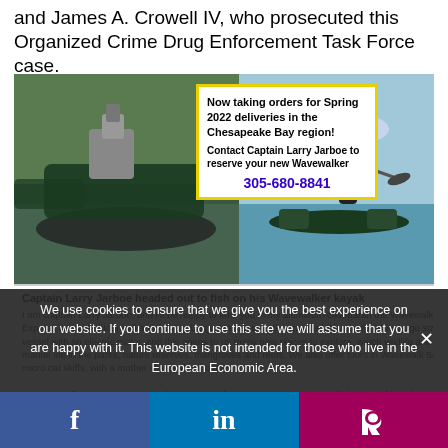and James A. Crowell IV, who prosecuted this Organized Crime Drug Enforcement Task Force case.
[Figure (photo): Advertisement showing boats and a person kayaking, with a yellow-bordered overlay box advertising Wavewalker kayak spring 2022 deliveries in the Chesapeake Bay region. Phone number 305-680-8841. Caption: Captain Larry Jarboe headed out to fish on his Wavewalker kayak.]
Captain Larry Jarboe headed out to fish on his Wavewalker kayak
I am Captain Larry Jarboe, and I'll be happy to take you in my aluminum catamaran the Wavewalk Express on guided tours all around Key Largo. We've recently equipped this comfortable, large size vessel with an electric motor, and this opens to us many new places to explore, watch wildlife and marine life in the parks, nature reserves, mangroves and reefs. We also offer tours in Wavewalk 54 micro cat skiffs, with a mother ship and without it.

As Wavewalk's authorized dealership in much of Florida, we carry Wavewalk boats and kayaks in stock, and we can outfit yours for fishing. We may also be able to find an outboard motor for you
We use cookies to ensure that we give you the best experience on our website. If you continue to use this site we will assume that you are happy with it. This website is not intended for those who live in the European Economic Area.